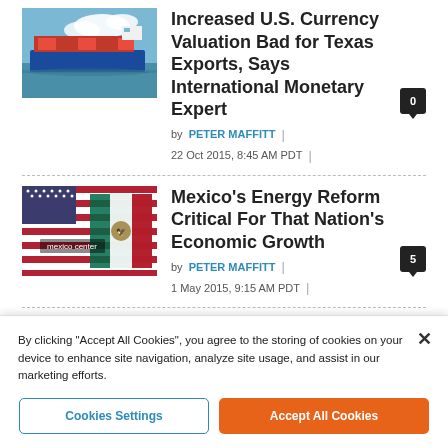[Figure (photo): A large blue cargo container ship on water with clouds in background]
Increased U.S. Currency Valuation Bad for Texas Exports, Says International Monetary Expert
by PETER MAFFITT | 22 Oct 2015, 8:45 AM PDT | 0
[Figure (photo): American and Mexican flags side by side with Mexico center text overlay]
Mexico's Energy Reform Critical For That Nation's Economic Growth
by PETER MAFFITT | 1 May 2015, 9:15 AM PDT | 5
By clicking "Accept All Cookies", you agree to the storing of cookies on your device to enhance site navigation, analyze site usage, and assist in our marketing efforts.